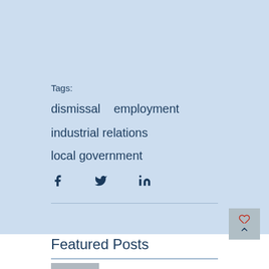Tags:
dismissal   employment
industrial relations
local government
[Figure (infographic): Social share icons: Facebook (f), Twitter (bird), LinkedIn (in)]
Featured Posts